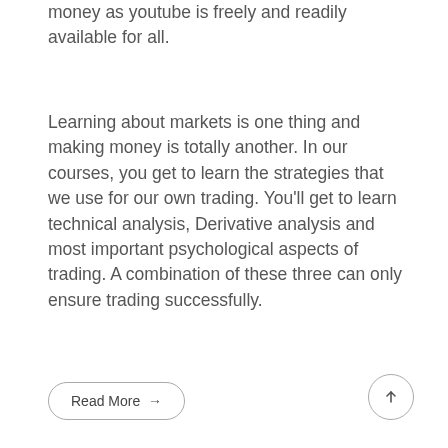money as youtube is freely and readily available for all.
Learning about markets is one thing and making money is totally another. In our courses, you get to learn the strategies that we use for our own trading. You’ll get to learn technical analysis, Derivative analysis and most important psychological aspects of trading. A combination of these three can only ensure trading successfully.
Read More →